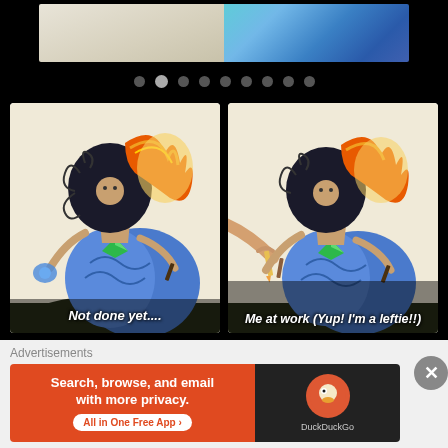[Figure (photo): Top partial image strip showing two artworks: left side pencil sketch on white paper, right side blue swirling wave/clouds illustration]
[Figure (other): Navigation dots row with 9 dots, second dot highlighted/active]
[Figure (illustration): Left artwork card: colorful illustration of a figure with black swirling hair and orange flame hair, holding a blue flower, with caption 'Not done yet....']
[Figure (illustration): Right artwork card: same colorful illustration with hands and pencils visible working on drawing, caption 'Me at work (Yup! I'm a leftie!!']
Advertisements
[Figure (screenshot): DuckDuckGo advertisement banner: orange left side with text 'Search, browse, and email with more privacy. All in One Free App', dark right side with DuckDuckGo logo]